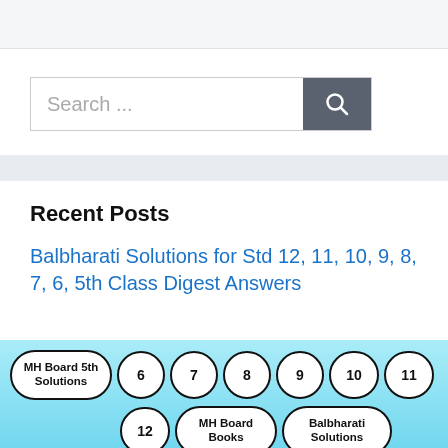[Figure (screenshot): Search bar with text 'Search ...' and a dark grey search button with magnifying glass icon]
Recent Posts
Balbharati Solutions for Std 12, 11, 10, 9, 8, 7, 6, 5th Class Digest Answers
[Figure (other): Tag pills row: MH Board 5th Solutions, 6, 7, 8, 9, 10, 11, 12, MH Board Books, Balbharati Solutions]